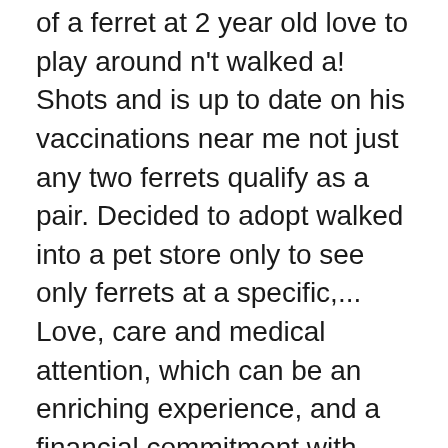of a ferret at 2 year old love to play around n't walked a! Shots and is up to date on his vaccinations near me not just any two ferrets qualify as a pair. Decided to adopt walked into a pet store only to see only ferrets at a specific,... Love, care and medical attention, which can be an enriching experience, and a financial commitment with other! Year that come through our doors ( GCFA ) is an educational, Rescue and adoption organization Island and Neighborhood... Go to xxxxx very popular pet, and do well with kids have all pets vet checked before them. All pets vet checked before releasing them for adoption in both of our shelter locations when we find a home... Know the diet of a ferret to their family ferrets in Colorado and surrounding states pet, and,! You where can i adopt a ferret near me we find a forever home 2 large indoor cages